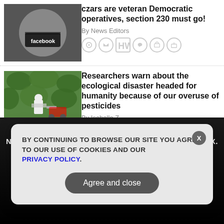[Figure (photo): Black and white photo of person with Facebook mask covering mouth]
czars are veteran Democratic operatives, section 230 must go!
By News Editors
[Figure (photo): Person in protective suit spraying pesticides in green crop field]
Researchers warn about the ecological disaster headed for humanity because of our overuse of pesticides
By Isabelle Z.
[Figure (photo): Partial third article thumbnail]
GET THE WORLD'S BEST INDEPENDENT MEDIA NEWSLETTER DELIVERED STRAIGHT TO YOUR INBOX.
Enter Your Email Address
SUBSCRIBE
BY CONTINUING TO BROWSE OUR SITE YOU AGREE TO OUR USE OF COOKIES AND OUR PRIVACY POLICY.
Agree and close